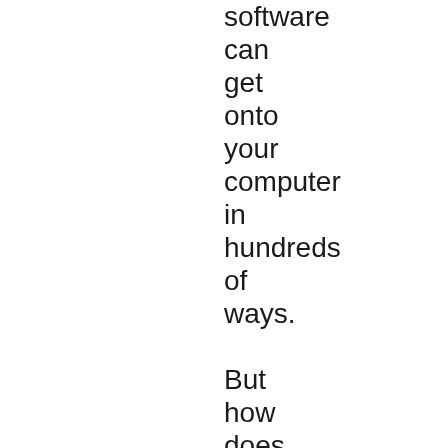software can get onto your computer in hundreds of ways.

But how does it spread on Discord? It can